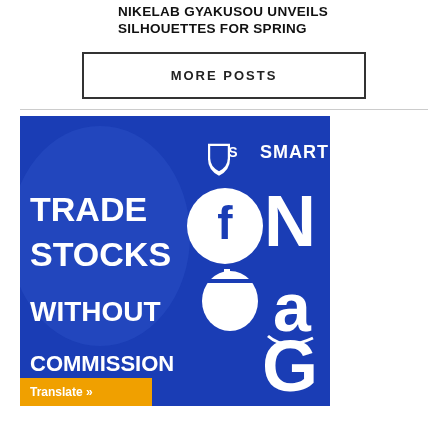NIKELAB GYAKUSOU UNVEILS SILHOUETTES FOR SPRING
MORE POSTS
[Figure (advertisement): SmartFX advertisement banner with blue background. Features SmartFX logo at top, text 'TRADE STOCKS WITHOUT COMMISSION' alongside Facebook, Apple, Netflix (N), Amazon (a), and Google (G) brand logos in white.]
Translate »